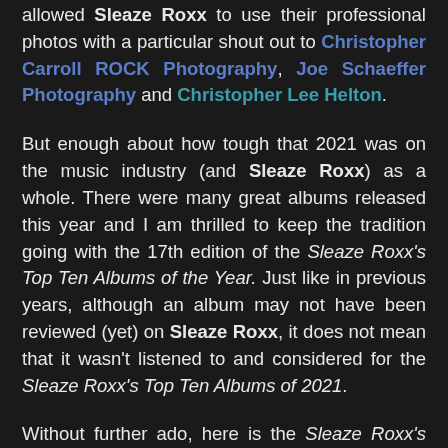allowed Sleaze Roxx to use their professional photos with a particular shout out to Christopher Carroll ROCK Photography, Joe Schaeffer Photography and Christopher Lee Helton.
But enough about how tough that 2021 was on the music industry (and Sleaze Roxx) as a whole. There were many great albums released this year and I am thrilled to keep the tradition going with the 17th edition of the Sleaze Roxx's Top Ten Albums of the Year. Just like in previous years, although an album may not have been reviewed (yet) on Sleaze Roxx, it does not mean that it wasn't listened to and considered for the Sleaze Roxx's Top Ten Albums of 2021.
Without further ado, here is the Sleaze Roxx's Top Ten Albums of 2021.